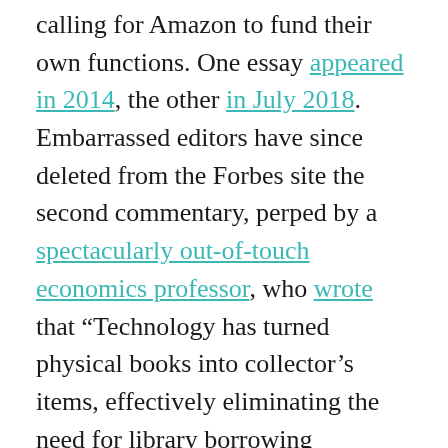calling for Amazon to fund their own functions. One essay appeared in 2014, the other in July 2018. Embarrassed editors have since deleted from the Forbes site the second commentary, perped by a spectacularly out-of-touch economics professor, who wrote that “Technology has turned physical books into collector’s items, effectively eliminating the need for library borrowing services.” Ironically, the endowment would actually be good not just for libraries but also for Amazon and other booksellers by expanding the universe of readers of both paper and digital books—a fact that librarians could use to help sell the